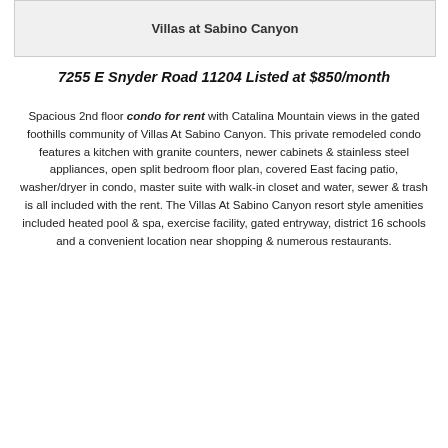Villas at Sabino Canyon
7255 E Snyder Road 11204 Listed at $850/month
Spacious 2nd floor condo for rent with Catalina Mountain views in the gated foothills community of Villas At Sabino Canyon. This private remodeled condo features a kitchen with granite counters, newer cabinets & stainless steel appliances, open split bedroom floor plan, covered East facing patio, washer/dryer in condo, master suite with walk-in closet and water, sewer & trash is all included with the rent. The Villas At Sabino Canyon resort style amenities included heated pool & spa, exercise facility, gated entryway, district 16 schools and a convenient location near shopping & numerous restaurants.